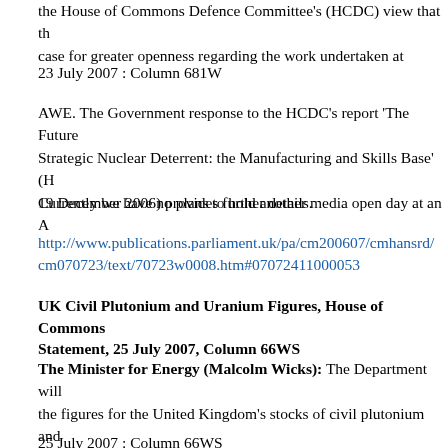the House of Commons Defence Committee's (HCDC) view that the case for greater openness regarding the work undertaken at
23 July 2007 : Column 681W
AWE. The Government response to the HCDC's report 'The Future of the Strategic Nuclear Deterrent: the Manufacturing and Skills Base' (HC 59, 19 December 2006) provides further details.
Currently we have no plans to hold another media open day at an AWE site.
http://www.publications.parliament.uk/pa/cm200607/cmhansrd/cm070723/text/70723w0008.htm#07072411000053
UK Civil Plutonium and Uranium Figures, House of Commons Written Statement, 25 July 2007, Column 66WS
The Minister for Energy (Malcolm Wicks): The Department will be placing the figures for the United Kingdom's stocks of civil plutonium and uranium as at 31 December 2006 in the Libraries of both Houses. In accordance with our commitment under the "Guidelines for the Management of Plutonium", we will also send the figures to the Director General of the International
25 July 2007 : Column 66WS